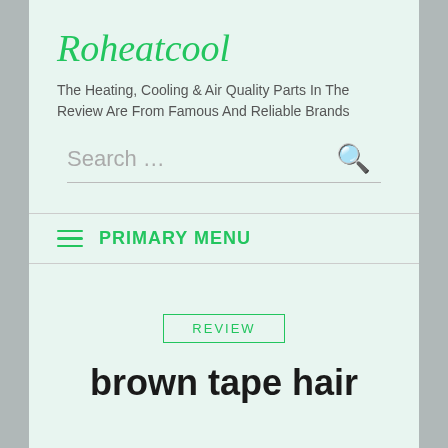Roheatcool
The Heating, Cooling & Air Quality Parts In The Review Are From Famous And Reliable Brands
Search ...
PRIMARY MENU
↑ TOP
REVIEW
brown tape hair